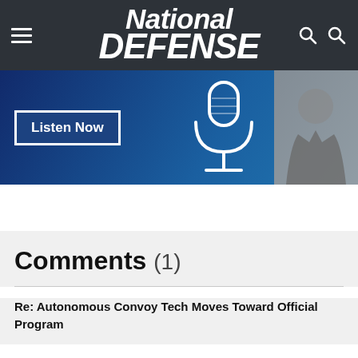National Defense
[Figure (photo): Advertisement banner with 'Listen Now' button, a microphone graphic on blue background, and a person in a suit on the right]
Comments (1)
Re: Autonomous Convoy Tech Moves Toward Official Program